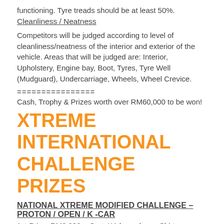functioning. Tyre treads should be at least 50%.
Cleanliness / Neatness
Competitors will be judged according to level of cleanliness/neatness of the interior and exterior of the vehicle. Areas that will be judged are: Interior, Upholstery, Engine bay, Boot, Tyres, Tyre Well (Mudguard), Undercarriage, Wheels, Wheel Crevice.
================
Cash, Trophy & Prizes worth over RM60,000 to be won!
XTREME INTERNATIONAL CHALLENGE PRIZES
NATIONAL XTREME MODIFIED CHALLENGE – PROTON / OPEN / K -CAR
1st Prize: RM3,000 + Cert, KA long sleeve Shirts, Hamper, Trophy
2nd Prize:Rm2,000 + Cert, KA long sleeve Shirts, Hamper,